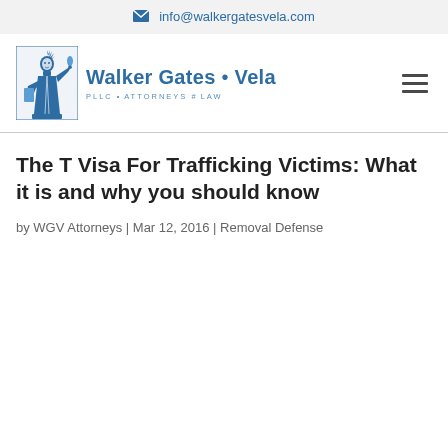info@walkergatesvela.com
[Figure (logo): Walker Gates Vela PLLC Attorneys at Law logo with Statue of Liberty icon]
The T Visa For Trafficking Victims: What it is and why you should know
by WGV Attorneys | Mar 12, 2016 | Removal Defense